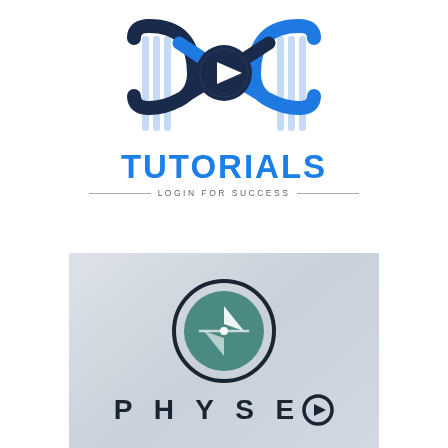[Figure (logo): DOC Tutorials logo: DNA double helix with a play button in center, text TUTORIALS below, tagline LOGIN FOR SUCCESS]
[Figure (logo): Physeo logo: circle with arrow/compass icon on gradient grey background, text PHYSEO below with play button icon replacing O]